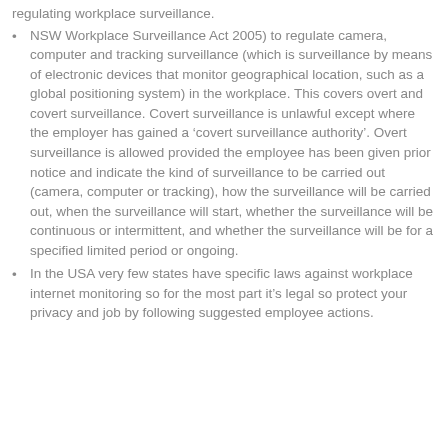regulating workplace surveillance.
NSW Workplace Surveillance Act 2005) to regulate camera, computer and tracking surveillance (which is surveillance by means of electronic devices that monitor geographical location, such as a global positioning system) in the workplace. This covers overt and covert surveillance. Covert surveillance is unlawful except where the employer has gained a ‘covert surveillance authority’. Overt surveillance is allowed provided the employee has been given prior notice and indicate the kind of surveillance to be carried out (camera, computer or tracking), how the surveillance will be carried out, when the surveillance will start, whether the surveillance will be continuous or intermittent, and whether the surveillance will be for a specified limited period or ongoing.
In the USA very few states have specific laws against workplace internet monitoring so for the most part it’s legal so protect your privacy and job by following suggested employee actions.